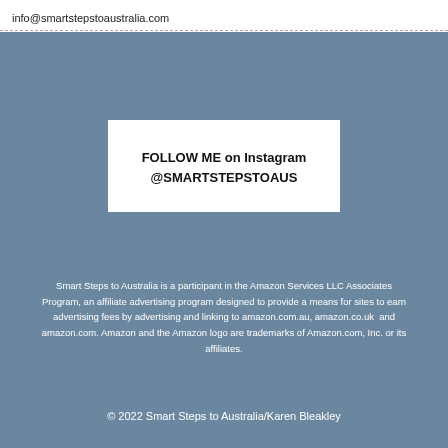info@smartstepstoaustralia.com
FOLLOW ME on Instagram
@SMARTSTEPSTOAUS
Smart Steps to Australia is a participant in the Amazon Services LLC Associates Program, an affiliate advertising program designed to provide a means for sites to earn advertising fees by advertising and linking to amazon.com.au, amazon.co.uk  and amazon.com. Amazon and the Amazon logo are trademarks of Amazon.com, Inc. or its affiliates.
© 2022 Smart Steps to Australia/Karen Bleakley